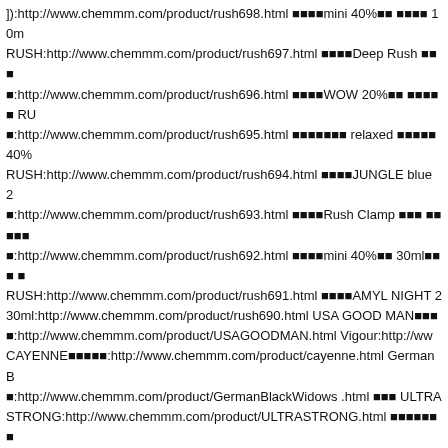]):http://www.chemmm.com/product/rush698.html ■■■■mini 40%■■ ■■■■ 10m RUSH:http://www.chemmm.com/product/rush697.html ■■■■Deep Rush ■■■ ■:http://www.chemmm.com/product/rush696.html ■■■■WOW 20%■■ ■■■■■ RU ■:http://www.chemmm.com/product/rush695.html ■■■■■■■ relaxed ■■■■■ 40% RUSH:http://www.chemmm.com/product/rush694.html ■■■■JUNGLE blue 2 ■:http://www.chemmm.com/product/rush693.html ■■■■Rush Clamp ■■■ ■■■■■ ■:http://www.chemmm.com/product/rush692.html ■■■■mini 40%■■ 30ml■■■ ■ RUSH:http://www.chemmm.com/product/rush691.html ■■■■AMYL NIGHT 2 30ml:http://www.chemmm.com/product/rush690.html USA GOOD MAN■■■ ■:http://www.chemmm.com/product/USAGOODMAN.html Vigour:http://ww CAYENNE■■■■■:http://www.chemmm.com/product/cayenne.html German B ■:http://www.chemmm.com/product/GermanBlackWidows .html ■■■ ULTRA STRONG:http://www.chemmm.com/product/ULTRASTRONG.html ■■■■■■■ ■):http://www.chemmm.com/product/himawari.html Rampazzo■■■■■■(■■■■ king:http://www.chemmm.com/product/sexking.html ■■■■■■■■(■■■)--■■■■ ■:http://www.chemmm.com/product/sexjinhua.html Pheromone■■■■■■■■■ ■:http://www.chemmm.com/product/Pheromone.html SEX KING NO.1■■■■ ■:http://www.chemmm.com/product/sexno.html ■■■(■■■■■)■■:http://www.che ■■■(■■■■■■■■):http://www.chemmm.com/product/zhuanyong.html ■■■■(■■■■■)■ ■:http://www.chemmm.com/product/zhiming.html ■■■(■■■■■■■■■):http://www.c ARDOUR(■■■■■)■■:http://www.chemmm.com/product/chijiu.html Footsie■■■( ■):http://www.chemmm.com/product/renqi.html Chastity Losing(■■■)■■■■ ■:http://www.chemmm.com/product/losing.html ■■■-■■■-■■■■■:http://www.che of sexual love(■■■■)--■■■■■:http://www.chemmm.com/product/sexuallove.htm ■:http://www.chemmm.com/product/thissilv.html ■■■■■■■ ■■■■■■■■